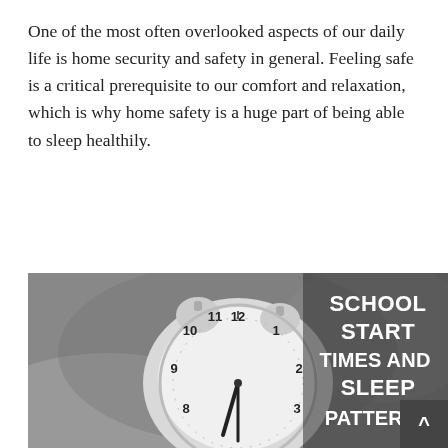One of the most often overlooked aspects of our daily life is home security and safety in general. Feeling safe is a critical prerequisite to our comfort and relaxation, which is why home safety is a huge part of being able to sleep healthily.
Written by: Tamara Smith
Published on: April 9, 2019
[Figure (photo): Grayscale photo of a white alarm clock with text overlay reading SCHOOL START TIMES AND SLEEP PATTERNS, with a scroll-up button in the bottom right corner.]